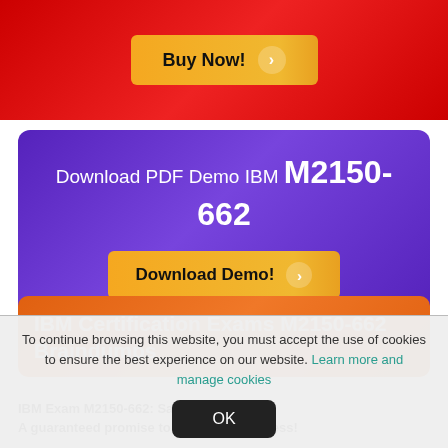[Figure (other): Red gradient banner with a gold 'Buy Now!' button]
[Figure (other): Purple gradient banner with text 'Download PDF Demo IBM M2150-662' and a gold 'Download Demo!' button]
IBM Certification Exams M2150-662 Braindumps
IBM Exam M2150-662: Sales Mastery
A guaranteed promise to award you success!

Pass4sure M2150-662 IBM study guide imparts confidence to its clients to shake off their exam fears of M2150-662 and get an assured success,
To continue browsing this website, you must accept the use of cookies to ensure the best experience on our website. Learn more and manage cookies
OK